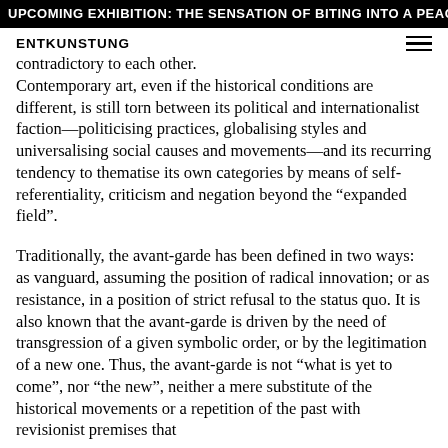UPCOMING EXHIBITION: THE SENSATION OF BITING INTO A PEACH AND LETTI
ENTKUNSTUNG
contradictory to each other. Contemporary art, even if the historical conditions are different, is still torn between its political and internationalist faction—politicising practices, globalising styles and universalising social causes and movements—and its recurring tendency to thematise its own categories by means of self-referentiality, criticism and negation beyond the "expanded field".
Traditionally, the avant-garde has been defined in two ways: as vanguard, assuming the position of radical innovation; or as resistance, in a position of strict refusal to the status quo. It is also known that the avant-garde is driven by the need of transgression of a given symbolic order, or by the legitimation of a new one. Thus, the avant-garde is not "what is yet to come", nor "the new", neither a mere substitute of the historical movements or a repetition of the past with revisionist premises that